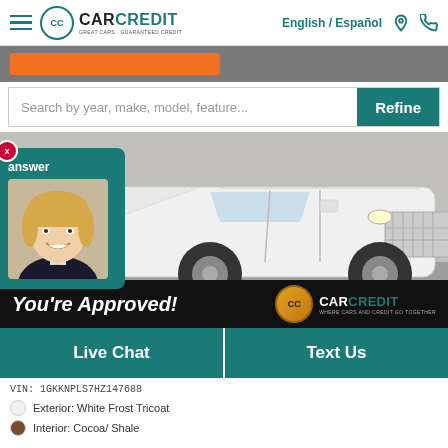CarCredit — English / Español — navigation bar with hamburger menu, location icon, phone icon
[Figure (screenshot): Partial hero banner with orange bar and dealership background image]
Search by year, make, model, feature...
[Figure (photo): White GMC SUV (large white crossover/SUV) photographed at dealership lot. Overlaid chat popup with blonde female agent and teal background showing 'answer' text and red X close button. Bottom banner: 'You're Approved!' with CarCredit logo on black background.]
Live Chat    Text Us
VIN: 1GKKNPLS7HZ147688
Exterior: White Frost Tricoat
Interior: Cocoa/ Shale